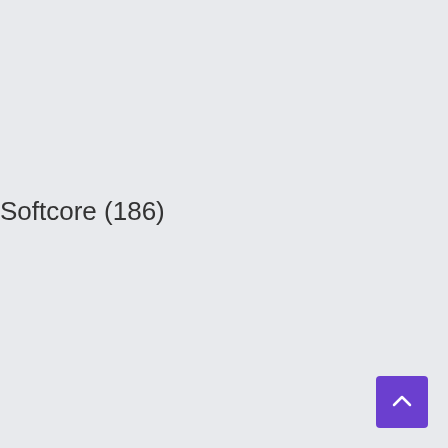Softcore (186)
[Figure (other): Purple scroll-to-top button with upward chevron arrow in bottom-right corner]